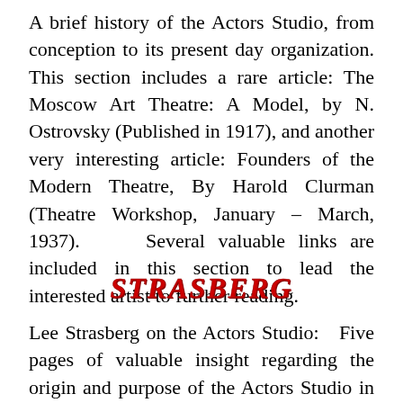A brief history of the Actors Studio, from conception to its present day organization. This section includes a rare article: The Moscow Art Theatre: A Model, by N. Ostrovsky (Published in 1917), and another very interesting article: Founders of the Modern Theatre, By Harold Clurman (Theatre Workshop, January – March, 1937).    Several valuable links are included in this section to lead the interested artist to further reading.
STRASBERG
Lee Strasberg on the Actors Studio:   Five pages of valuable insight regarding the origin and purpose of the Actors Studio in Lee Strasberg's own words.